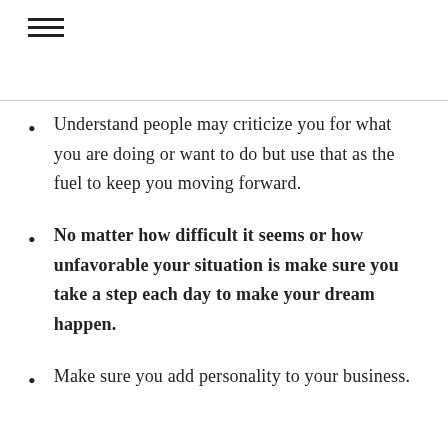≡
Understand people may criticize you for what you are doing or want to do but use that as the fuel to keep you moving forward.
No matter how difficult it seems or how unfavorable your situation is make sure you take a step each day to make your dream happen.
Make sure you add personality to your business.